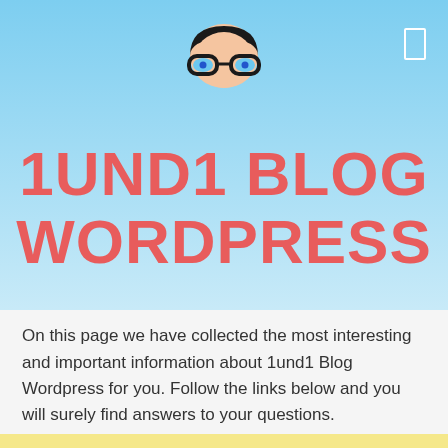[Figure (logo): Cartoon face icon with black hair and blue glasses]
1UND1 BLOG WORDPRESS
On this page we have collected the most interesting and important information about 1und1 Blog Wordpress for you. Follow the links below and you will surely find answers to your questions.